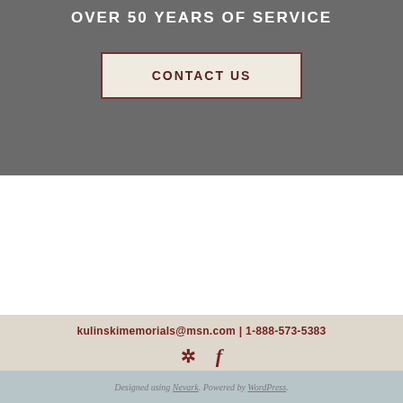OVER 50 YEARS OF SERVICE
CONTACT US
kulinskimemorials@msn.com | 1-888-573-5383
[Figure (other): Social media icons: Yelp star and Facebook logo]
Designed using Nevark. Powered by WordPress.